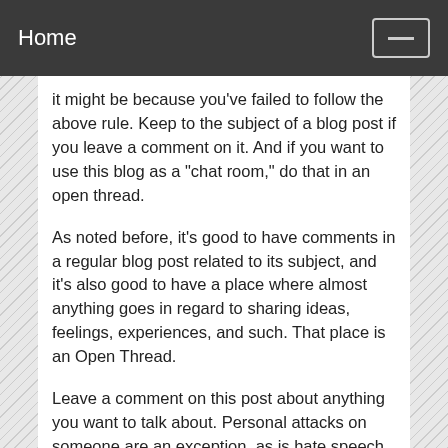Home
it might be because you've failed to follow the above rule. Keep to the subject of a blog post if you leave a comment on it. And if you want to use this blog as a "chat room," do that in an open thread.
As noted before, it's good to have comments in a regular blog post related to its subject, and it's also good to have a place where almost anything goes in regard to sharing ideas, feelings, experiences, and such. That place is an Open Thread.
Leave a comment on this post about anything you want to talk about. Personal attacks on someone are an exception, as is hate speech. Argue with ideas, not insults.
Though I haven't been doing too well on this, I'll try to remember to always have an Open Thread showing in the Recent Posts section in the right sidebar. If one isn't showing, I've added an Open Threads category in, naturally, the Categories section. You can always find an Open Thread there.